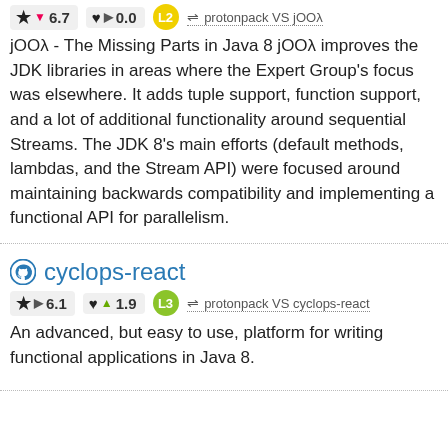★ ▼ 6.7   ♥ ▶ 0.0   L2   ⇌ protonpack VS jOOλ
jOOλ - The Missing Parts in Java 8 jOOλ improves the JDK libraries in areas where the Expert Group's focus was elsewhere. It adds tuple support, function support, and a lot of additional functionality around sequential Streams. The JDK 8's main efforts (default methods, lambdas, and the Stream API) were focused around maintaining backwards compatibility and implementing a functional API for parallelism.
cyclops-react
★ ▶ 6.1   ♥ ▲ 1.9   L3   ⇌ protonpack VS cyclops-react
An advanced, but easy to use, platform for writing functional applications in Java 8.